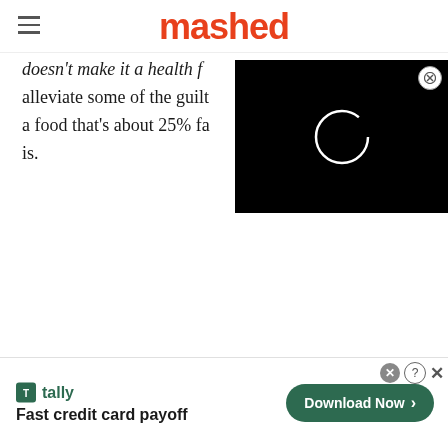mashed
doesn't make it a health f... alleviate some of the guilt a food that's about 25% fa is.
[Figure (screenshot): Black video player overlay with white circular loading spinner and close button]
[Figure (screenshot): Tally app advertisement banner: Fast credit card payoff, with Download Now button]